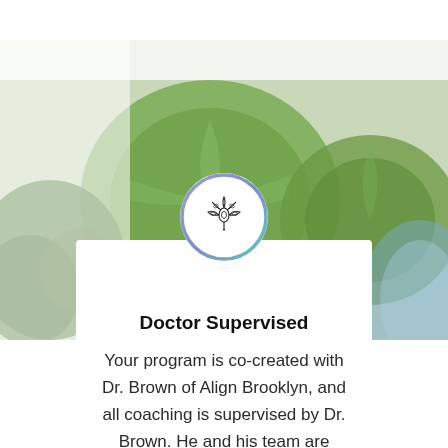[Figure (photo): Background photo of green vegetables (cabbage/brussels sprouts) with a light gray/white overlay on the left side. A circular icon featuring a decorative leaf/flower design with a blue-purple gradient border sits centered over the transition between background and white card.]
Doctor Supervised
Your program is co-created with Dr. Brown of Align Brooklyn, and all coaching is supervised by Dr. Brown. He and his team are